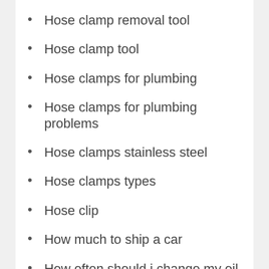Hose clamp removal tool
Hose clamp tool
Hose clamps for plumbing
Hose clamps for plumbing problems
Hose clamps stainless steel
Hose clamps types
Hose clip
How much to ship a car
How often should i change my oil
How to change injectors
How to choose a used reefer trailer
How to find the right car dealer